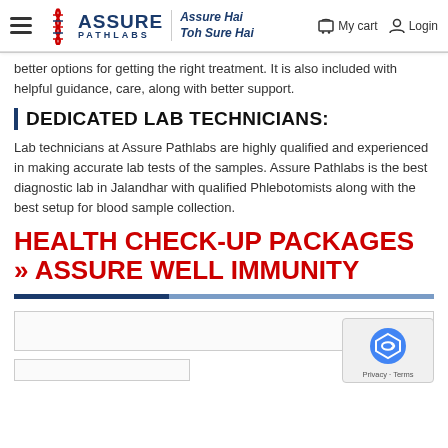[Figure (logo): Assure Pathlabs logo with DNA helix icon, navigation bar with hamburger menu, tagline 'Assure Hai Toh Sure Hai', My cart and Login links]
better options for getting the right treatment. It is also included with helpful guidance, care, along with better support.
DEDICATED LAB TECHNICIANS:
Lab technicians at Assure Pathlabs are highly qualified and experienced in making accurate lab tests of the samples. Assure Pathlabs is the best diagnostic lab in Jalandhar with qualified Phlebotomists along with the best setup for blood sample collection.
HEALTH CHECK-UP PACKAGES » ASSURE WELL IMMUNITY